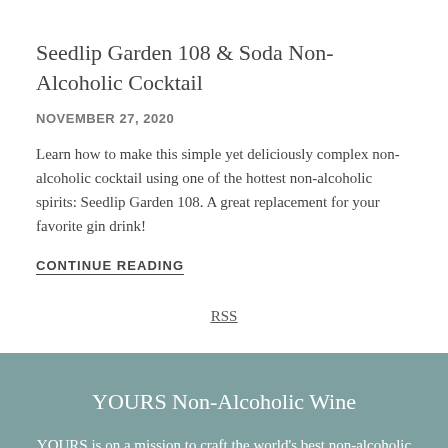Seedlip Garden 108 & Soda Non-Alcoholic Cocktail
NOVEMBER 27, 2020
Learn how to make this simple yet deliciously complex non-alcoholic cocktail using one of the hottest non-alcoholic spirits: Seedlip Garden 108. A great replacement for your favorite gin drink!
CONTINUE READING
RSS
YOURS Non-Alcoholic Wine
YOURS is on a mission to craft the world's best non-alcoholic wines.